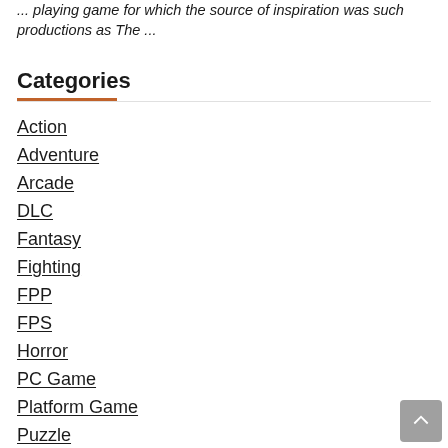... playing game for which the source of inspiration was such productions as The ...
Categories
Action
Adventure
Arcade
DLC
Fantasy
Fighting
FPP
FPS
Horror
PC Game
Platform Game
Puzzle
Racing
RPG